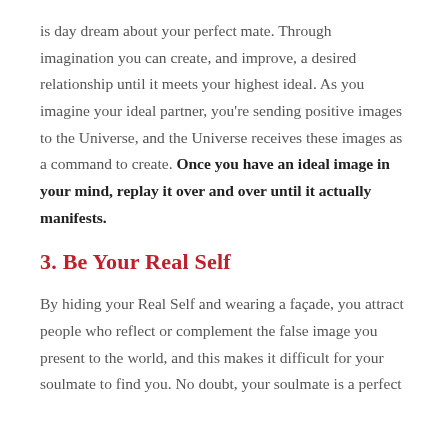is day dream about your perfect mate. Through imagination you can create, and improve, a desired relationship until it meets your highest ideal. As you imagine your ideal partner, you're sending positive images to the Universe, and the Universe receives these images as a command to create. Once you have an ideal image in your mind, replay it over and over until it actually manifests.
3. Be Your Real Self
By hiding your Real Self and wearing a façade, you attract people who reflect or complement the false image you present to the world, and this makes it difficult for your soulmate to find you. No doubt, your soulmate is a perfect